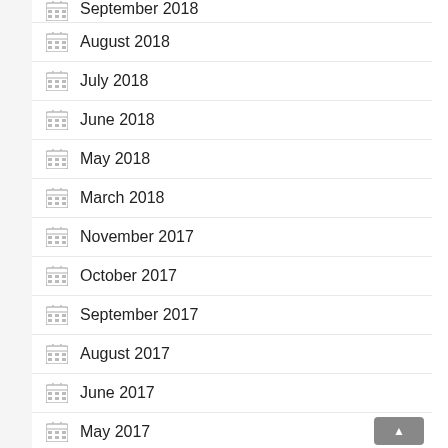September 2018
August 2018
July 2018
June 2018
May 2018
March 2018
November 2017
October 2017
September 2017
August 2017
June 2017
May 2017